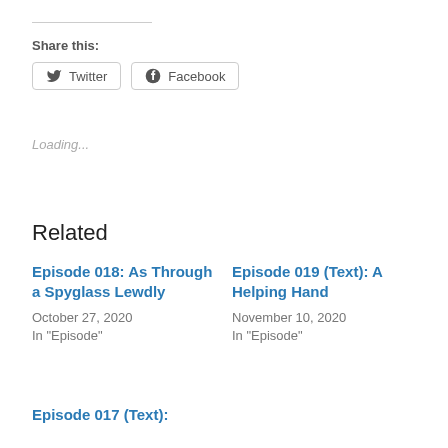Share this:
Twitter   Facebook
Loading...
Related
Episode 018: As Through a Spyglass Lewdly
October 27, 2020
In "Episode"
Episode 019 (Text): A Helping Hand
November 10, 2020
In "Episode"
Episode 017 (Text):